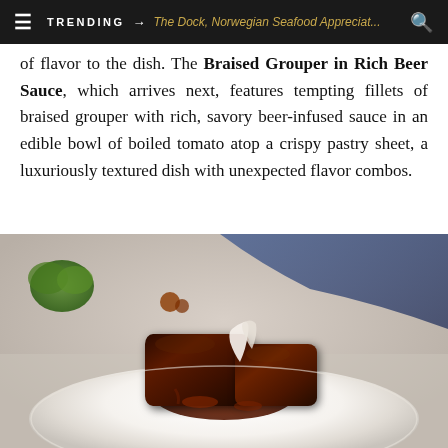TRENDING → The Dock, Norwegian Seafood Appreciat...
of flavor to the dish. The Braised Grouper in Rich Beer Sauce, which arrives next, features tempting fillets of braised grouper with rich, savory beer-infused sauce in an edible bowl of boiled tomato atop a crispy pastry sheet, a luxuriously textured dish with unexpected flavor combos.
[Figure (photo): A plated fine dining dish showing braised meat (grouper) in rich dark beer sauce with a white cream element, served on a large white plate with sauce pool, green garnish visible in background, blue-tinted restaurant background]